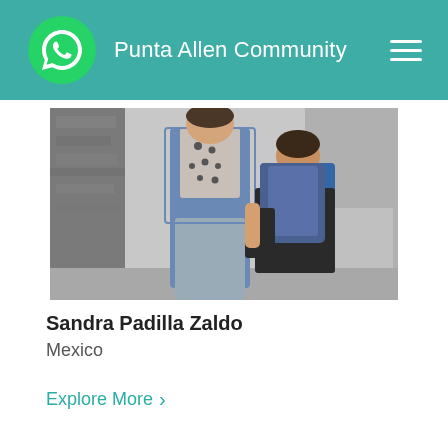Punta Allen Community
[Figure (photo): A woman and a child (boy with blue shirt and backpack) on a sidewalk next to a stone wall. The boy is leaning in to kiss or nuzzle the woman. Both are carrying bags.]
Sandra Padilla Zaldo
Mexico
Explore More >